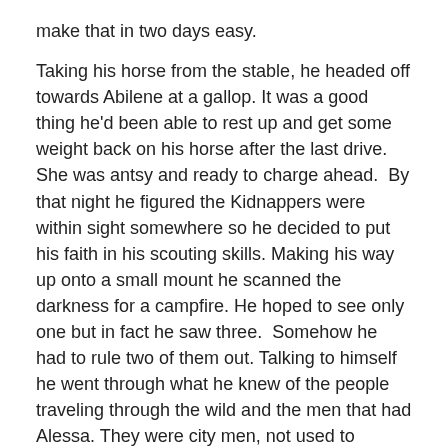make that in two days easy.
Taking his horse from the stable, he headed off towards Abilene at a gallop. It was a good thing he'd been able to rest up and get some weight back on his horse after the last drive. She was antsy and ready to charge ahead.  By that night he figured the Kidnappers were within sight somewhere so he decided to put his faith in his scouting skills. Making his way up onto a small mount he scanned the darkness for a campfire. He hoped to see only one but in fact he saw three.  Somehow he had to rule two of them out. Talking to himself he went through what he knew of the people traveling through the wild and the men that had Alessa. They were city men, not used to roughing it. Travelers and cowboys were used to the Texas wilderness sounds and night spooks like coyote and such.